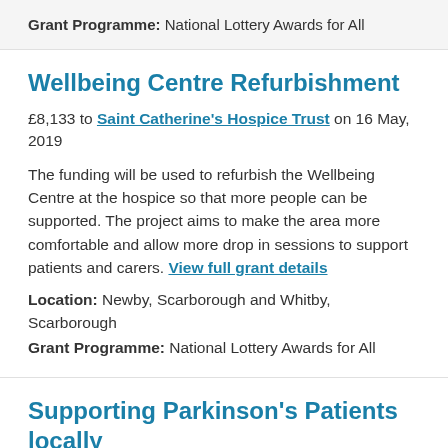Grant Programme: National Lottery Awards for All
Wellbeing Centre Refurbishment
£8,133 to Saint Catherine's Hospice Trust on 16 May, 2019
The funding will be used to refurbish the Wellbeing Centre at the hospice so that more people can be supported. The project aims to make the area more comfortable and allow more drop in sessions to support patients and carers. View full grant details
Location: Newby, Scarborough and Whitby, Scarborough
Grant Programme: National Lottery Awards for All
Supporting Parkinson's Patients locally
£6,400 to Parkinson's UK Scarborough Branch on 2